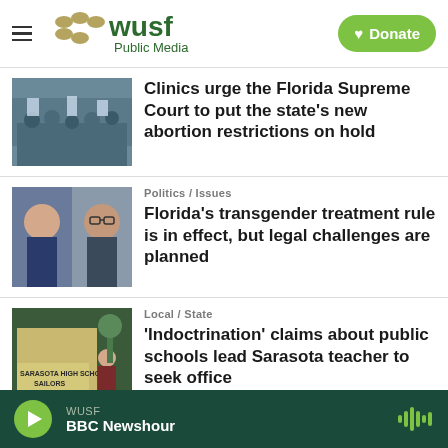WUSF Public Media
Clinics urge the Florida Supreme Court to put the state's new abortion restrictions on hold
Politics / Issues
Florida's transgender treatment rule is in effect, but legal challenges are planned
Local / State
'Indoctrination' claims about public schools lead Sarasota teacher to seek office
WUSF BBC Newshour